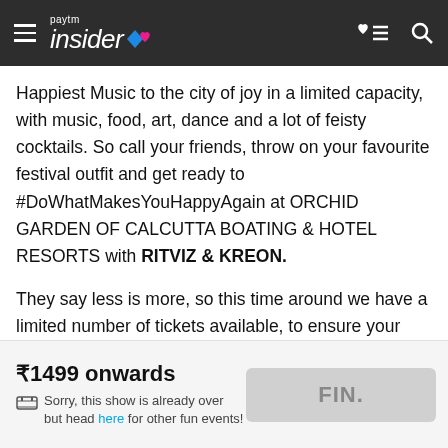[Figure (logo): Paytm Insider logo with hamburger menu, heart-list icon, and search icon on dark header bar]
Happiest Music to the city of joy in a limited capacity, with music, food, art, dance and a lot of feisty cocktails. So call your friends, throw on your favourite festival outfit and get ready to #DoWhatMakesYouHappyAgain at ORCHID GARDEN OF CALCUTTA BOATING & HOTEL RESORTS with RITVIZ & KREON.
They say less is more, so this time around we have a limited number of tickets available, to ensure your safety and still give you the best experience ever. And remember, if you want to make it to the event, fully vaccinated means double the happiness. Let's have a safe and happy festival!
₹1499 onwards
Sorry, this show is already over but head here for other fun events!